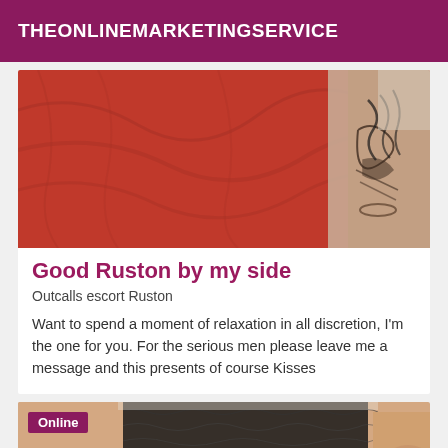THEONLINEMARKETINGSERVICE
[Figure (photo): Photo of red fabric/bed sheet with a person partially visible on the right side showing tattoos]
Good Ruston by my side
Outcalls escort Ruston
Want to spend a moment of relaxation in all discretion, I'm the one for you. For the serious men please leave me a message and this presents of course Kisses
[Figure (photo): Photo of a person wearing black lace lingerie, Online badge visible in top left corner]